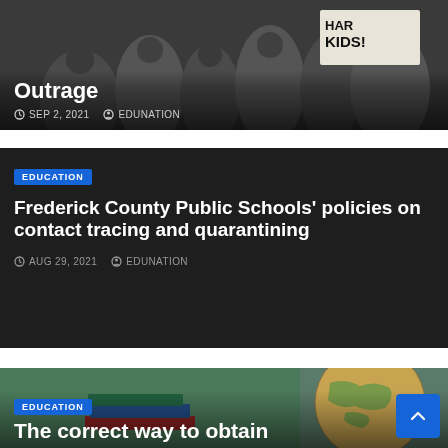[Figure (photo): Partial view of protesters holding signs including text 'KIDS!' on a dark background with crowd]
Outrage
SEP 2, 2021  EDUNATION
[Figure (photo): Dark background education article card]
EDUCATION
Frederick County Public Schools' policies on contact tracing and quarantining
AUG 29, 2021  EDUNATION
[Figure (photo): Classroom scene with globe and books on dark green/teal chalkboard background]
EDUCATION
The correct way to obtain